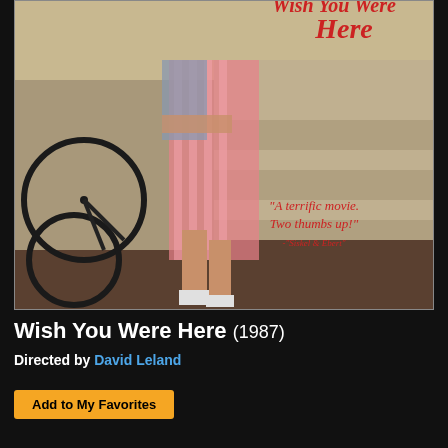[Figure (photo): Movie poster for 'Wish You Were Here' (1987). Shows a young woman in a pink striped dress leaning against a railing with a bicycle nearby. Red cursive text reads 'Here' at the top and a quote: 'A terrific movie. Two thumbs up!' attributed to 'Siskel & Ebert'.]
Wish You Were Here (1987)
Directed by David Leland
Add to My Favorites